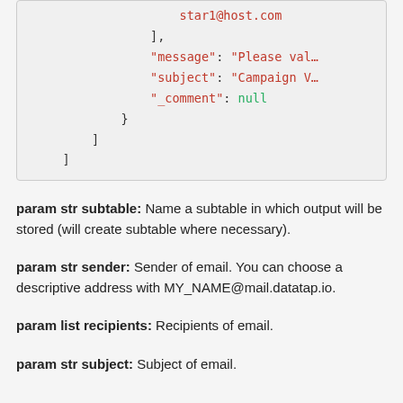[Figure (screenshot): Code block showing JSON snippet with fields: closing bracket of array, 'message' with string value 'Please val...', 'subject' with string value 'Campaign V...', '_comment' with null value, closing braces and brackets.]
param str subtable: Name a subtable in which output will be stored (will create subtable where necessary).
param str sender: Sender of email. You can choose a descriptive address with MY_NAME@mail.datatap.io.
param list recipients: Recipients of email.
param str subject: Subject of email.